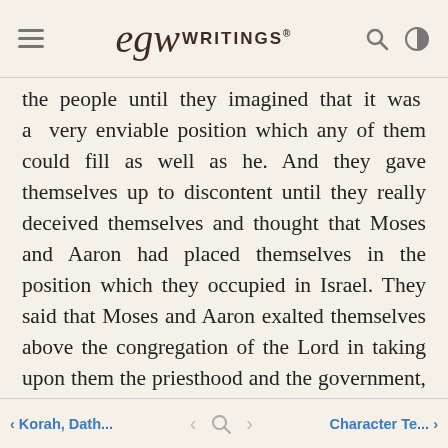EGW Writings®
the people until they imagined that it was a very enviable position which any of them could fill as well as he. And they gave themselves up to discontent until they really deceived themselves and thought that Moses and Aaron had placed themselves in the position which they occupied in Israel. They said that Moses and Aaron exalted themselves above the congregation of the Lord in taking upon them the priesthood and the government, and that this office should not be conferred on their house alone. They said that it was sufficient for them if they were on a level with their brethren; for they were no more holy than the people, who were equally favored with God's peculiar presence and protection. 3T 346.3
< Korah, Dath...   < [search] >   Character Te... >